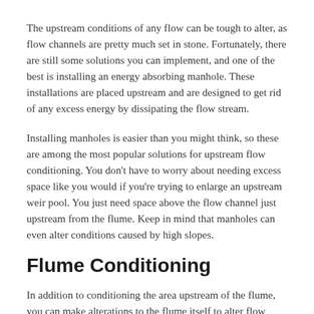The upstream conditions of any flow can be tough to alter, as flow channels are pretty much set in stone. Fortunately, there are still some solutions you can implement, and one of the best is installing an energy absorbing manhole. These installations are placed upstream and are designed to get rid of any excess energy by dissipating the flow stream.
Installing manholes is easier than you might think, so these are among the most popular solutions for upstream flow conditioning. You don't have to worry about needing excess space like you would if you're trying to enlarge an upstream weir pool. You just need space above the flow channel just upstream from the flume. Keep in mind that manholes can even alter conditions caused by high slopes.
Flume Conditioning
In addition to conditioning the area upstream of the flume, you can make alterations to the flume itself to alter flow velocity. If you have a smaller sized flume, around three inches or so, you can implement baffle plates. These are perforated sheets of metal that are used in groups to break up the velocity profile of any flow going through the